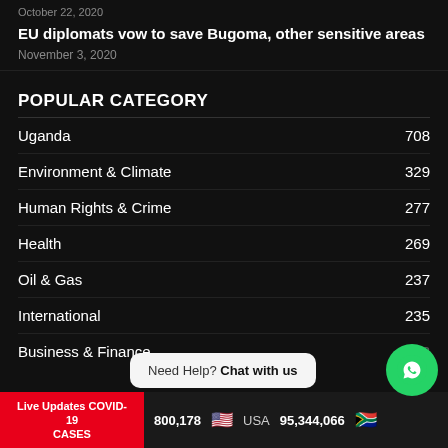October 22, 2020
EU diplomats vow to save Bugoma, other sensitive areas
November 3, 2020
POPULAR CATEGORY
Uganda  708
Environment & Climate  329
Human Rights & Crime  277
Health  269
Oil & Gas  237
International  235
Business & Finance  233
Live Updates COVID-19 CASES  800,178  USA  95,344,066
Need Help? Chat with us